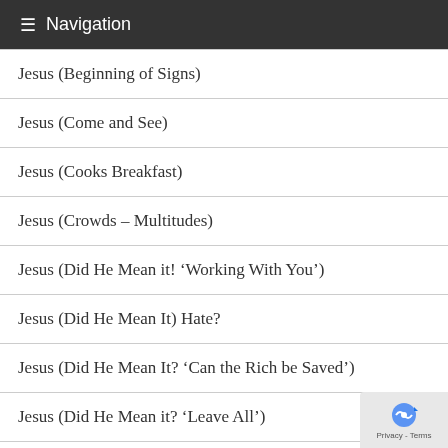≡ Navigation
Jesus (Beginning of Signs)
Jesus (Come and See)
Jesus (Cooks Breakfast)
Jesus (Crowds – Multitudes)
Jesus (Did He Mean it! 'Working With You')
Jesus (Did He Mean It) Hate?
Jesus (Did He Mean It? 'Can the Rich be Saved')
Jesus (Did He Mean it? 'Leave All')